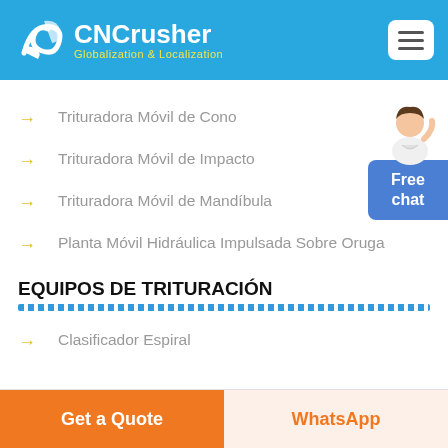CNCrusher - Globalization & Localization
Trituradora Móvil de Cono
Trituradora Móvil de Impacto
Trituradora Móvil de Mandíbula
Planta Móvil Hidráulica Impulsada Sobre Oruga
EQUIPOS DE TRITURACIÓN
Clasificador Espiral
Get a Quote | WhatsApp